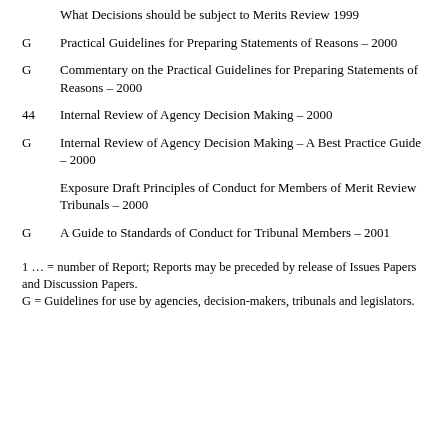What Decisions should be subject to Merits Review 1999
G  Practical Guidelines for Preparing Statements of Reasons – 2000
G  Commentary on the Practical Guidelines for Preparing Statements of Reasons – 2000
44  Internal Review of Agency Decision Making – 2000
G  Internal Review of Agency Decision Making – A Best Practice Guide – 2000
Exposure Draft Principles of Conduct for Members of Merit Review Tribunals – 2000
G  A Guide to Standards of Conduct for Tribunal Members – 2001
1 … = number of Report; Reports may be preceded by release of Issues Papers and Discussion Papers.
G = Guidelines for use by agencies, decision-makers, tribunals and legislators.